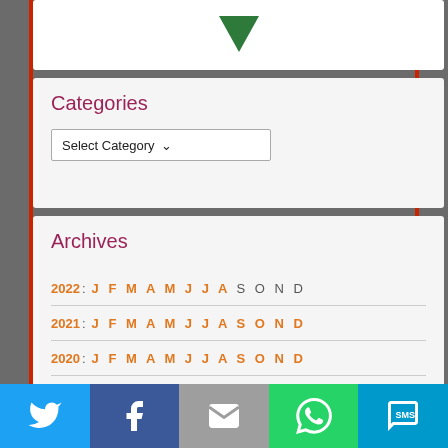[Figure (illustration): Green downward-pointing arrow/chevron icon on white card background]
Categories
Select Category
Archives
2022: J F M A M J J A S O N D
2021: J F M A M J J A S O N D
2020: J F M A M J J A S O N D
[Figure (infographic): Social sharing bar with Twitter, Facebook, Email, WhatsApp, and SMS buttons]